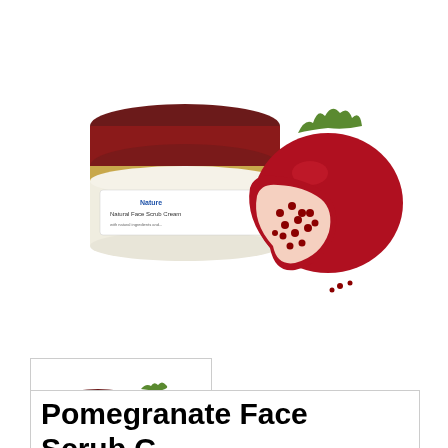[Figure (photo): A cosmetic jar (face scrub cream with dark red lid and gold band, white label reading 'Natural Face Scrub Cream') shown next to a whole and a cut-open pomegranate with seeds visible, on a white background.]
[Figure (photo): Small thumbnail image of the same face scrub cream jar and a pomegranate, shown in a bordered box.]
Pomegranate Face Scrub C...